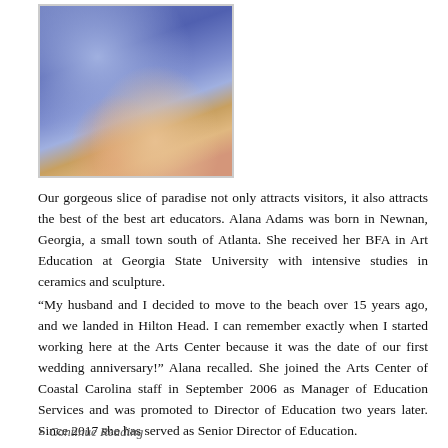[Figure (photo): A woman sitting outdoors wearing a blue floral top and purple shorts, holding something, with colorful accessories.]
Our gorgeous slice of paradise not only attracts visitors, it also attracts the best of the best art educators. Alana Adams was born in Newnan, Georgia, a small town south of Atlanta. She received her BFA in Art Education at Georgia State University with intensive studies in ceramics and sculpture.
“My husband and I decided to move to the beach over 15 years ago, and we landed in Hilton Head. I can remember exactly when I started working here at the Arts Center because it was the date of our first wedding anniversary!” Alana recalled. She joined the Arts Center of Coastal Carolina staff in September 2006 as Manager of Education Services and was promoted to Director of Education two years later. Since 2017 she has served as Senior Director of Education.
Continue Reading